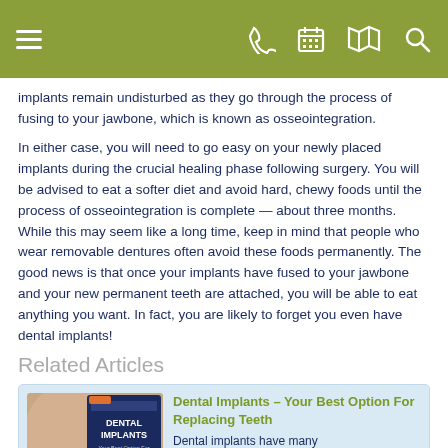Navigation header with menu, phone, calendar, map, and search icons
implants remain undisturbed as they go through the process of fusing to your jawbone, which is known as osseointegration.
In either case, you will need to go easy on your newly placed implants during the crucial healing phase following surgery. You will be advised to eat a softer diet and avoid hard, chewy foods until the process of osseointegration is complete — about three months. While this may seem like a long time, keep in mind that people who wear removable dentures often avoid these foods permanently. The good news is that once your implants have fused to your jawbone and your new permanent teeth are attached, you will be able to eat anything you want. In fact, you are likely to forget you even have dental implants!
Related Articles
[Figure (photo): Thumbnail image showing a person's face alongside a dark blue 'DENTAL IMPLANTS Your Best Option For Replacing Teeth' book/pamphlet cover]
Dental Implants – Your Best Option For Replacing Teeth
Dental implants have many